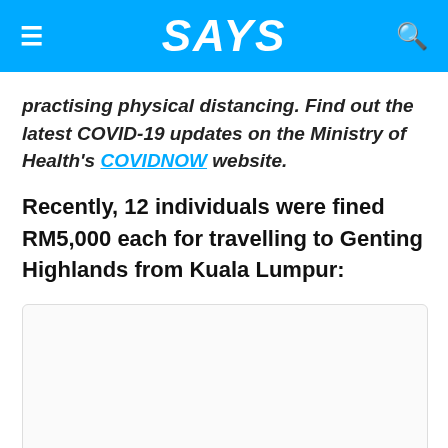SAYS
practising physical distancing. Find out the latest COVID-19 updates on the Ministry of Health's COVIDNOW website.
Recently, 12 individuals were fined RM5,000 each for travelling to Genting Highlands from Kuala Lumpur:
[Figure (other): Embedded content box, blank/loading embedded media placeholder]